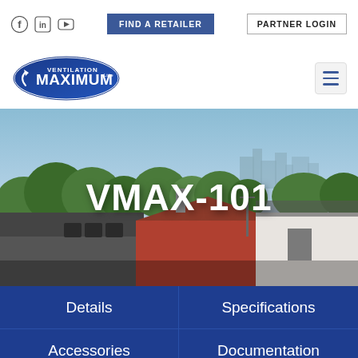Social icons | FIND A RETAILER | PARTNER LOGIN
[Figure (logo): Ventilation Maximum Ltée oval logo in blue and white]
[Figure (screenshot): Aerial photo of residential rooftops and trees with city skyline in background, with 'VMAX-101' text overlay]
VMAX-101
Details
Specifications
Accessories
Documentation